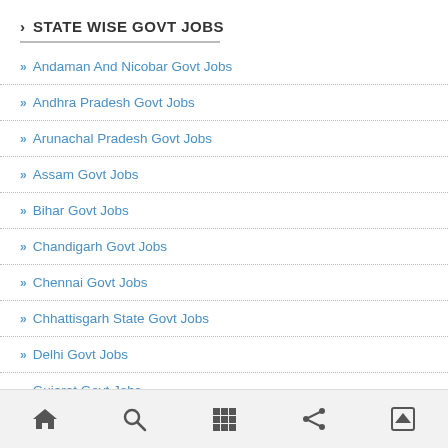> STATE WISE GOVT JOBS
Andaman And Nicobar Govt Jobs
Andhra Pradesh Govt Jobs
Arunachal Pradesh Govt Jobs
Assam Govt Jobs
Bihar Govt Jobs
Chandigarh Govt Jobs
Chennai Govt Jobs
Chhattisgarh State Govt Jobs
Delhi Govt Jobs
Gujarat Govt Jobs
Home | Search | Grid | Share | Up